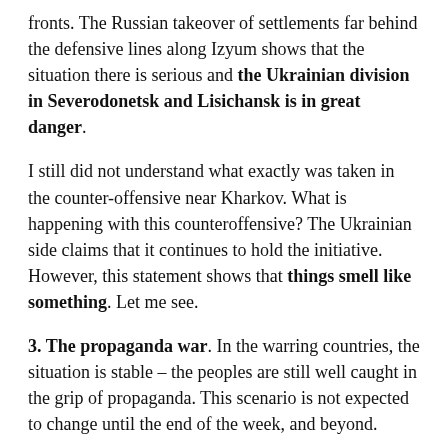…Ukraine urgently need to fill the gap in the Donbas fronts. The Russian takeover of settlements far behind the defensive lines along Izyum shows that the situation there is serious and the Ukrainian division in Severodonetsk and Lisichansk is in great danger.
I still did not understand what exactly was taken in the counter-offensive near Kharkov. What is happening with this counteroffensive? The Ukrainian side claims that it continues to hold the initiative. However, this statement shows that things smell like something. Let me see.
3. The propaganda war. In the warring countries, the situation is stable – the peoples are still well caught in the grip of propaganda. This scenario is not expected to change until the end of the week, and beyond.
In our country, the scenario of failed pro-Ukrainian propaganda is stable. How to fix this – tips from THAT MAN, quotes from THAT MAN, before from Discoord it...